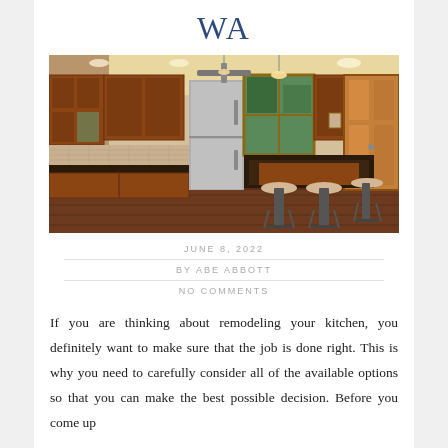WA
[Figure (photo): A remodeled kitchen with wood cabinets, stainless steel refrigerator, kitchen island with bar stools, ceiling fan, and wood flooring.]
JUNE 8, 2022
BY ABE ABBOTT
NO COMMENTS
If you are thinking about remodeling your kitchen, you definitely want to make sure that the job is done right. This is why you need to carefully consider all of the available options so that you can make the best possible decision. Before you come up